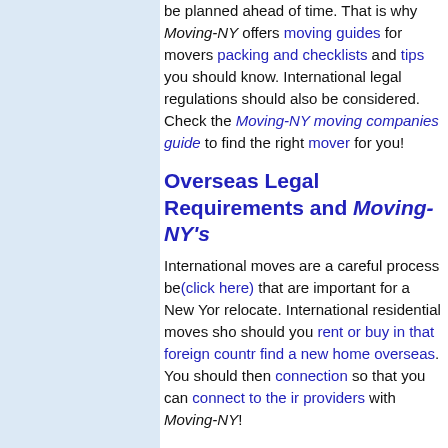be planned ahead of time. That is why Moving-NY offers moving guides for movers packing and checklists and tips you should know. International legal regulations should also be considered. Check the Moving-NY moving companies guide to find the right mover for you!
Overseas Legal Requirements and Moving-NY's
International moves are a careful process be... (click here) that are important for a New Yor... relocate. International residential moves sho... should you rent or buy in that foreign countr... find a new home overseas. You should then... connection so that you can connect to the ir... providers with Moving-NY!
International Car Movers and In... Permits
Moving-NY's Overseas shipping guides can... that you find the right international car move... before that, make sure you know what is inv... country so that you are prepared. Once you... requirements for making your car legal and...